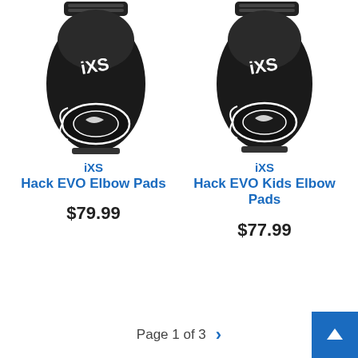[Figure (photo): iXS Hack EVO Elbow Pads - black elbow pad with iXS logo]
iXS
Hack EVO Elbow Pads
$79.99
[Figure (photo): iXS Hack EVO Kids Elbow Pads - black elbow pad with iXS logo]
iXS
Hack EVO Kids Elbow Pads
$77.99
Page 1 of 3